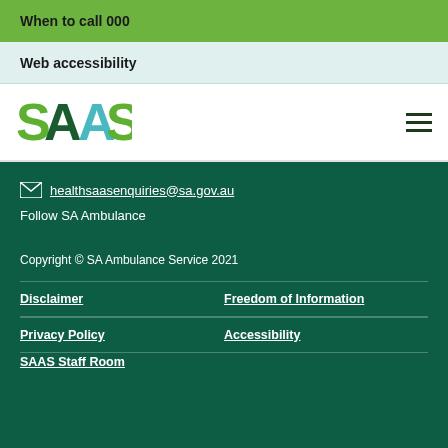When to call 000
Web accessibility
[Figure (logo): SAAS (SA Ambulance Service) logo in green and teal colors]
healthsaasenquiries@sa.gov.au
Follow SA Ambulance
Copyright © SA Ambulance Service 2021
Disclaimer
Freedom of Information
Privacy Policy
Accessibility
SAAS Staff Room